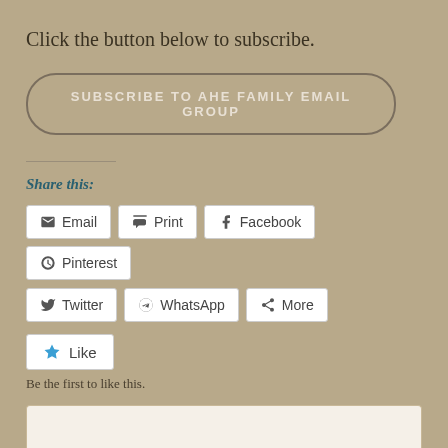Click the button below to subscribe.
[Figure (other): Subscribe to AHE Family Email Group button — a rounded rectangle button with text 'SUBSCRIBE TO AHE FAMILY EMAIL GROUP']
Share this:
[Figure (other): Share buttons row 1: Email, Print, Facebook, Pinterest]
[Figure (other): Share buttons row 2: Twitter, WhatsApp, More]
[Figure (other): Like button with star icon]
Be the first to like this.
[Figure (other): Partial white/light box visible at bottom of page]